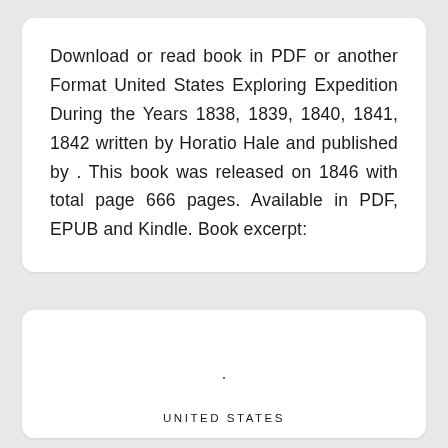Download or read book in PDF or another Format United States Exploring Expedition During the Years 1838, 1839, 1840, 1841, 1842 written by Horatio Hale and published by . This book was released on 1846 with total page 666 pages. Available in PDF, EPUB and Kindle. Book excerpt:
.
UNITED STATES